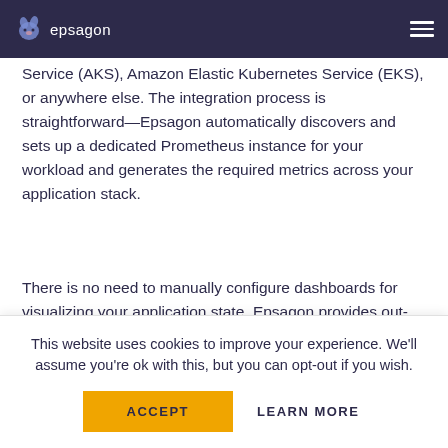epsagon
Epsagon provides observability support for your Kubernetes cluster running on Azure Kubernetes Service (AKS), Amazon Elastic Kubernetes Service (EKS), or anywhere else. The integration process is straightforward—Epsagon automatically discovers and sets up a dedicated Prometheus instance for your workload and generates the required metrics across your application stack.
There is no need to manually configure dashboards for visualizing your application state. Epsagon provides out-of-the-box dashboards to monitor your Kubernetes cluster and review the real-time state of your nodes, pods, deployments, and
This website uses cookies to improve your experience. We'll assume you're ok with this, but you can opt-out if you wish.
ACCEPT    LEARN MORE